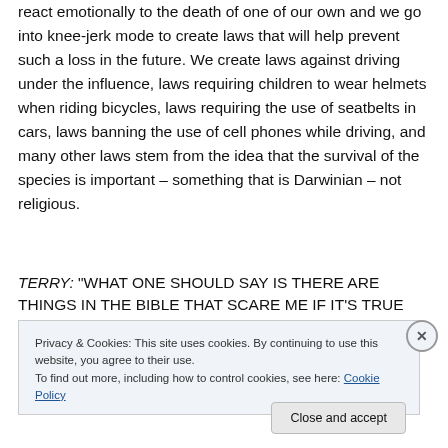react emotionally to the death of one of our own and we go into knee-jerk mode to create laws that will help prevent such a loss in the future. We create laws against driving under the influence, laws requiring children to wear helmets when riding bicycles, laws requiring the use of seatbelts in cars, laws banning the use of cell phones while driving, and many other laws stem from the idea that the survival of the species is important – something that is Darwinian – not religious.
TERRY: "WHAT ONE SHOULD SAY IS THERE ARE THINGS IN THE BIBLE THAT SCARE ME IF IT'S TRUE
Privacy & Cookies: This site uses cookies. By continuing to use this website, you agree to their use.
To find out more, including how to control cookies, see here: Cookie Policy
Close and accept